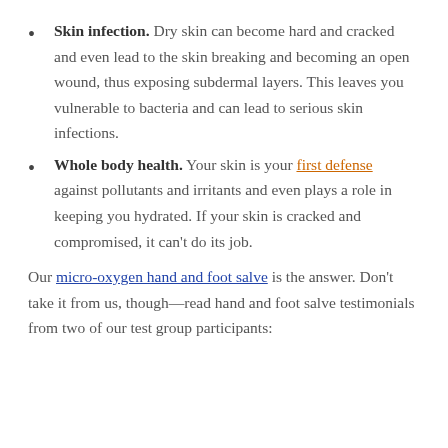Skin infection. Dry skin can become hard and cracked and even lead to the skin breaking and becoming an open wound, thus exposing subdermal layers. This leaves you vulnerable to bacteria and can lead to serious skin infections.
Whole body health. Your skin is your first defense against pollutants and irritants and even plays a role in keeping you hydrated. If your skin is cracked and compromised, it can't do its job.
Our micro-oxygen hand and foot salve is the answer. Don't take it from us, though—read hand and foot salve testimonials from two of our test group participants: